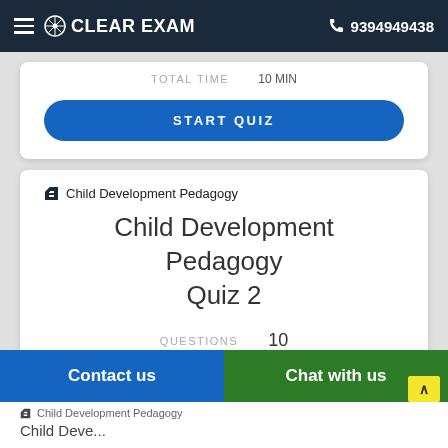CLEAR EXAM  9394949438
TOTAL TIME  10 min
START QUIZ
Child Development Pedagogy
Child Development Pedagogy Quiz 2
QUESTIONS  10
TOTAL TIME  10 min
START QUIZ
Contact us
Chat with us
Child Development Pedagogy
Child Deve...